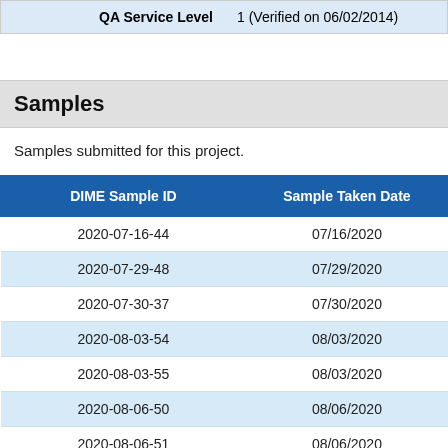| QA Service Level |  |
| --- | --- |
| QA Service Level | 1 (Verified on 06/02/2014) |
Samples
Samples submitted for this project.
| DIME Sample ID | Sample Taken Date |
| --- | --- |
| 2020-07-16-44 | 07/16/2020 |
| 2020-07-29-48 | 07/29/2020 |
| 2020-07-30-37 | 07/30/2020 |
| 2020-08-03-54 | 08/03/2020 |
| 2020-08-03-55 | 08/03/2020 |
| 2020-08-06-50 | 08/06/2020 |
| 2020-08-06-51 | 08/06/2020 |
| 2020-08-11-?? | 08/11/2020 |